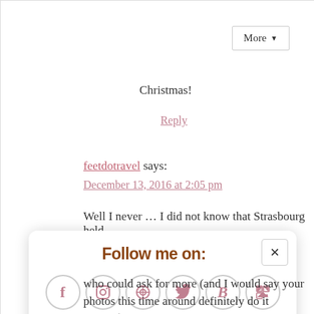Christmas!
Reply
feetdotravel says:
December 13, 2016 at 2:05 pm
Well I never … I did not know that Strasbourg held
[Figure (screenshot): A modal popup with title 'Follow me on:' showing social media icons (Facebook, Instagram, Pinterest, Twitter, Bloglovin, RSS) in circles, a close button (x), text 'Or sign up to my newsletter', and a subscribe input field with 'Sign Up!' button]
who could ask for more (and I would say your photos this time around definitely do it justice!) Merry